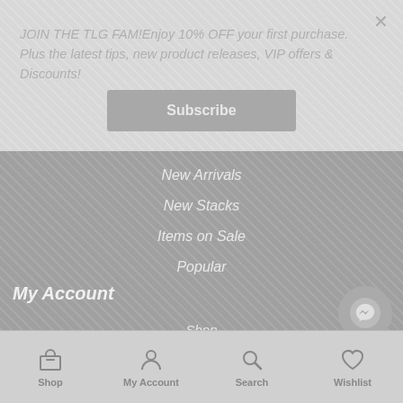JOIN THE TLG FAM!Enjoy 10% OFF your first purchase. Plus the latest tips, new product releases, VIP offers & Discounts!
Subscribe
New Arrivals
New Stacks
Items on Sale
Popular
My Account
Shop
My Account
Shop   My Account   Search   Wishlist